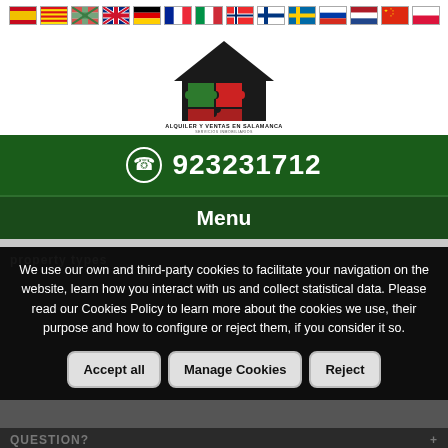[Figure (illustration): Row of country flags: Spain, Catalonia, Basque Country, UK, Germany, France, Italy, Norway, Finland, Sweden, Russia, Netherlands, China, Poland]
[Figure (logo): Logo for 'Alquiler y Ventas en Salamanca Servicios Inmobiliarios' — house shape with jigsaw puzzle pieces in red and green]
923231712
Menu
We use our own and third-party cookies to facilitate your navigation on the website, learn how you interact with us and collect statistical data. Please read our Cookies Policy to learn more about the cookies we use, their purpose and how to configure or reject them, if you consider it so.
Accept all
Manage Cookies
Reject
QUESTION?
From